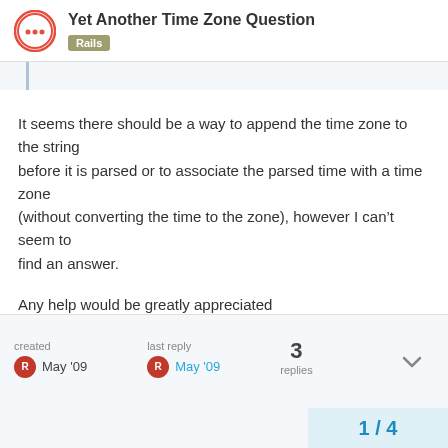Yet Another Time Zone Question
Rails
It seems there should be a way to append the time zone to the string
before it is parsed or to associate the parsed time with a time zone
(without converting the time to the zone), however I can't seem to
find an answer.

Any help would be greatly appreciated
created
May '09   last reply
May '09   3 replies